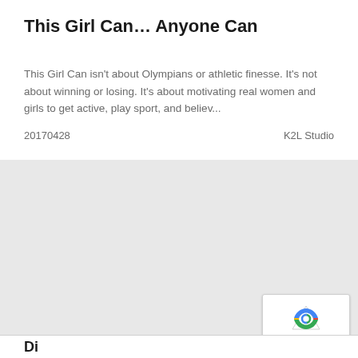This Girl Can… Anyone Can
This Girl Can isn't about Olympians or athletic finesse. It's not about winning or losing. It's about motivating real women and girls to get active, play sport, and believ...
20170428    K2L Studio
[Figure (other): Empty grey area placeholder / image loading area]
[Figure (other): reCAPTCHA badge with Privacy and Terms text]